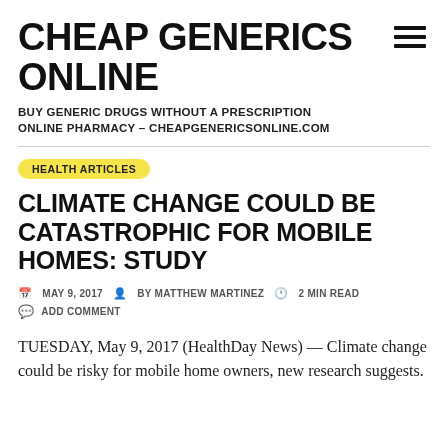CHEAP GENERICS ONLINE
BUY GENERIC DRUGS WITHOUT A PRESCRIPTION ONLINE PHARMACY – CHEAPGENERICSONLINE.COM
HEALTH ARTICLES
CLIMATE CHANGE COULD BE CATASTROPHIC FOR MOBILE HOMES: STUDY
MAY 9, 2017  BY MATTHEW MARTINEZ  2 MIN READ
ADD COMMENT
TUESDAY, May 9, 2017 (HealthDay News) — Climate change could be risky for mobile home owners, new research suggests.